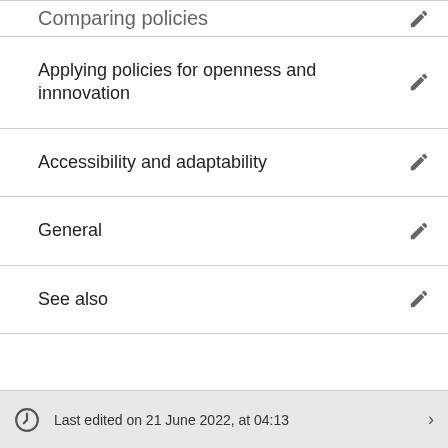Applying policies for openness and innnovation
Accessibility and adaptability
General
See also
Last edited on 21 June 2022, at 04:13